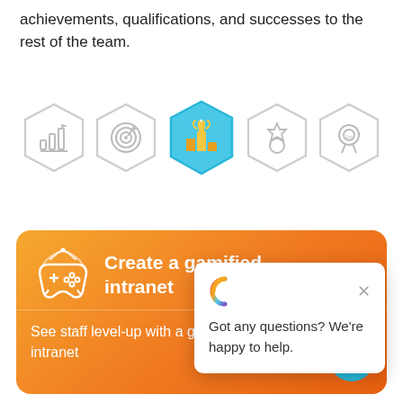achievements, qualifications, and successes to the rest of the team.
[Figure (illustration): Five hexagonal icons showing achievements/gamification concepts: bar chart, target/bullseye, trophy podium (highlighted in blue), medal, and rosette/ribbon badge.]
[Figure (screenshot): Orange banner card with game controller icon and text 'Create a gamified intranet' and 'See staff level-up with a gamified and engaging intranet'. A chat popup overlay shows a colorful C logo and text 'Got any questions? We're happy to help.' with a close X button. A teal chat button is in the lower right corner.]